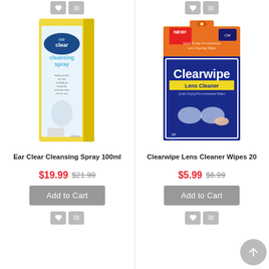[Figure (photo): Ear Clear Cleansing Spray 100ml product box — yellow packaging with blue 'earclear' logo and 'cleansing spray' text]
Ear Clear Cleansing Spray 100ml
$19.99 $21.99
[Figure (photo): Clearwipe Lens Cleaner Wipes 20 product box — orange and blue packaging with 'Clearwipe Lens Cleaner' branding and 'NEW!' tag]
Clearwipe Lens Cleaner Wipes 20
$5.99 $6.99